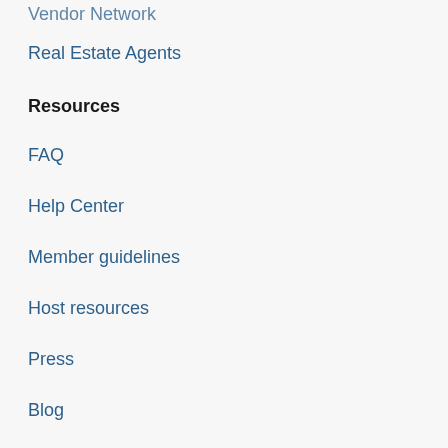Vendor Network
Real Estate Agents
Resources
FAQ
Help Center
Member guidelines
Host resources
Press
Blog
Savings calculator
Company